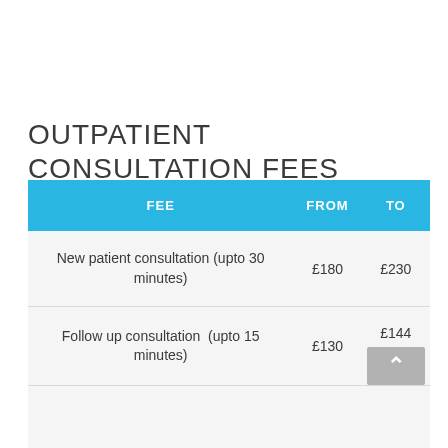OUTPATIENT CONSULTATION FEES
| FEE | FROM | TO |
| --- | --- | --- |
| New patient consultation (upto 30 minutes) | £180 | £230 |
| Follow up consultation  (upto 15 minutes) | £130 | £144 |
|  |  |  |